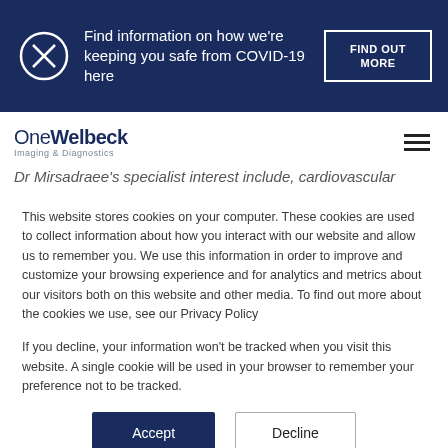[Figure (screenshot): COVID-19 safety information banner with X icon, text, and FIND OUT MORE button on dark navy background]
[Figure (logo): OneWelbeck Imaging & Diagnostics logo with hamburger menu icon]
Dr Mirsadraee's specialist interest include, cardiovascular
This website stores cookies on your computer. These cookies are used to collect information about how you interact with our website and allow us to remember you. We use this information in order to improve and customize your browsing experience and for analytics and metrics about our visitors both on this website and other media. To find out more about the cookies we use, see our Privacy Policy

If you decline, your information won't be tracked when you visit this website. A single cookie will be used in your browser to remember your preference not to be tracked.